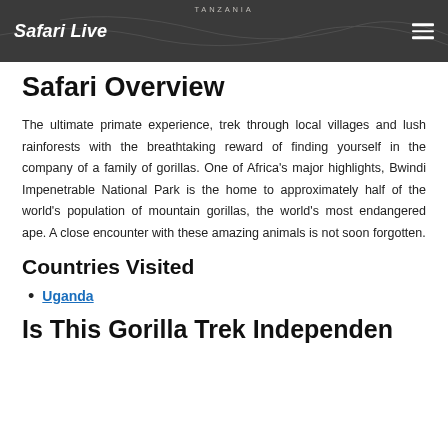Safari Live | TANZANIA
Safari Overview
The ultimate primate experience, trek through local villages and lush rainforests with the breathtaking reward of finding yourself in the company of a family of gorillas. One of Africa's major highlights, Bwindi Impenetrable National Park is the home to approximately half of the world's population of mountain gorillas, the world's most endangered ape. A close encounter with these amazing animals is not soon forgotten.
Countries Visited
Uganda
Is This Gorilla Trek Independen